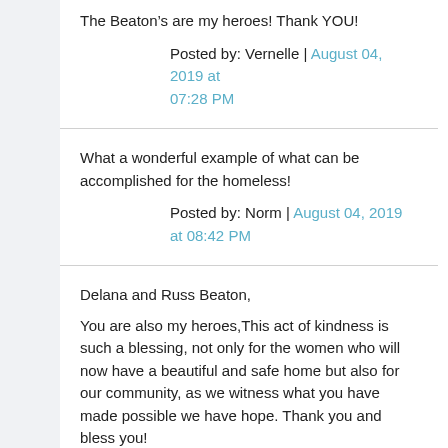The Beaton’s are my heroes! Thank YOU!
Posted by: Vernelle | August 04, 2019 at 07:28 PM
What a wonderful example of what can be accomplished for the homeless!
Posted by: Norm | August 04, 2019 at 08:42 PM
Delana and Russ Beaton,
You are also my heroes,This act of kindness is such a blessing, not only for the women who will now have a beautiful and safe home but also for our community, as we witness what you have made possible we have hope. Thank you and bless you!
This is an entirely positive and welcome article. Thank you Brian Hines,